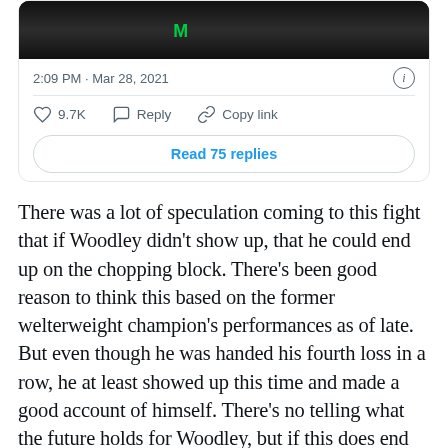[Figure (photo): Partial tweet card showing a dark sports photo at the top with UFC-related content]
2:09 PM · Mar 28, 2021
9.7K   Reply   Copy link
Read 75 replies
There was a lot of speculation coming to this fight that if Woodley didn't show up, that he could end up on the chopping block. There's been good reason to think this based on the former welterweight champion's performances as of late. But even though he was handed his fourth loss in a row, he at least showed up this time and made a good account of himself. There's no telling what the future holds for Woodley, but if this does end up being his last dance in the Octagon, he should have his head held high as he most certainly left it all in the